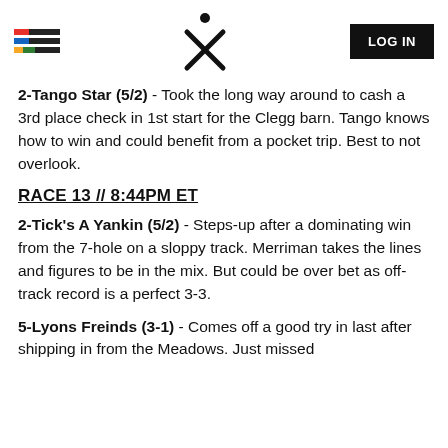[Figure (logo): Colored horizontal bars hamburger menu icon and Xpert racing logo with LOG IN button]
2-Tango Star (5/2) - Took the long way around to cash a 3rd place check in 1st start for the Clegg barn. Tango knows how to win and could benefit from a pocket trip. Best to not overlook.
RACE 13 // 8:44PM ET
2-Tick's A Yankin (5/2) - Steps-up after a dominating win from the 7-hole on a sloppy track. Merriman takes the lines and figures to be in the mix. But could be over bet as off-track record is a perfect 3-3.
5-Lyons Freinds (3-1) - Comes off a good try in last after shipping in from the Meadows. Just missed